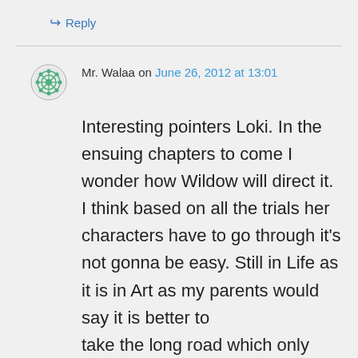↳ Reply
Mr. Walaa on June 26, 2012 at 13:01
Interesting pointers Loki. In the ensuing chapters to come I wonder how Wildow will direct it. I think based on all the trials her characters have to go through it's not gonna be easy. Still in Life as it is in Art as my parents would say it is better to take the long road which only requires sweat & patience than the short cut fraught with thorns &